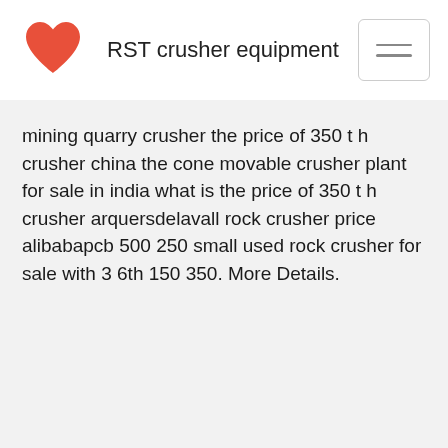RST crusher equipment
mining quarry crusher the price of 350 t h crusher china the cone movable crusher plant for sale in india what is the price of 350 t h crusher arquersdelavall rock crusher price alibabapcb 500 250 small used rock crusher for sale with 3 6th 150 350. More Details.